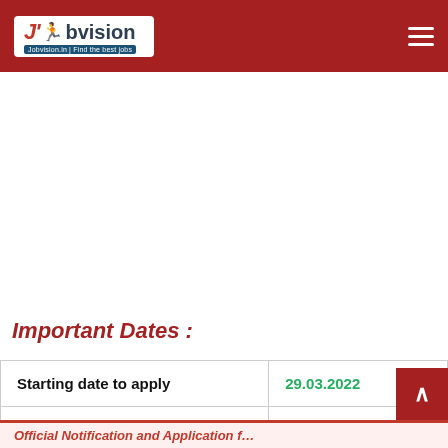Jobvision | Find the best jobs
Important Dates :
|  |  |
| --- | --- |
| Starting date to apply | 29.03.2022 |
| Last date to apply | 12.04.2022 |
Official Notification and Application f…